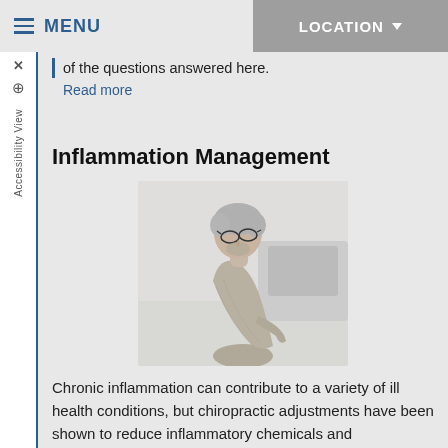MENU   LOCATION
of the questions answered here.
Read more
Inflammation Management
[Figure (photo): Elderly man with grey hair and glasses, bent forward holding his lower back in pain, wearing a grey long-sleeve shirt, indoor background]
Chronic inflammation can contribute to a variety of ill health conditions, but chiropractic adjustments have been shown to reduce inflammatory chemicals and